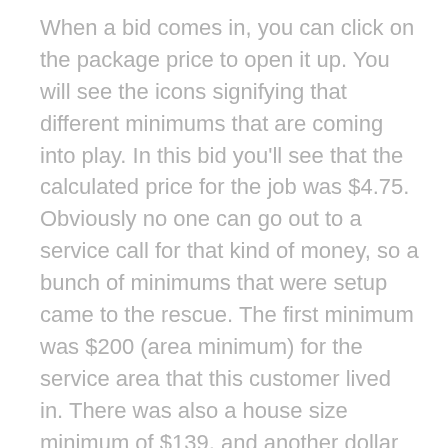When a bid comes in, you can click on the package price to open it up. You will see the icons signifying that different minimums that are coming into play. In this bid you'll see that the calculated price for the job was $4.75. Obviously no one can go out to a service call for that kind of money, so a bunch of minimums that were setup came to the rescue. The first minimum was $200 (area minimum) for the service area that this customer lived in. There was also a house size minimum of $139, and another dollar minimum (job minimum) for $100. These minimums ultimately got ignored, becasue they were lower than the Area Minimum and ResponsiBid will always pick the highest minimum for bid to serve as the floor. Then, if a trip surcharge is applicable, it will be added onto the end, so that is why the grand total came to $250 ($200 area minimum + $50 trip charge)... even though the